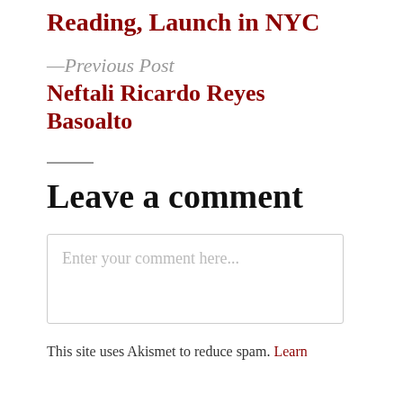Reading, Launch in NYC
—Previous Post
Neftali Ricardo Reyes Basoalto
Leave a comment
Enter your comment here...
This site uses Akismet to reduce spam. Learn